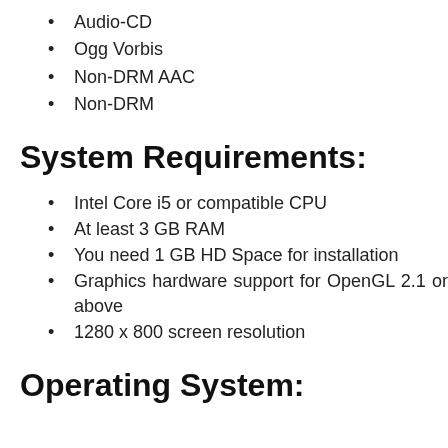Audio-CD
Ogg Vorbis
Non-DRM AAC
Non-DRM
System Requirements:
Intel Core i5 or compatible CPU
At least 3 GB RAM
You need 1 GB HD Space for installation
Graphics hardware support for OpenGL 2.1 or above
1280 x 800 screen resolution
Operating System: